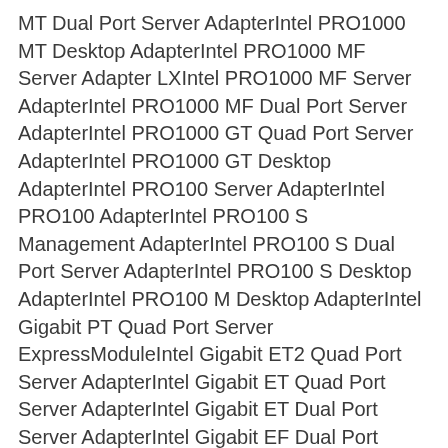MT Dual Port Server AdapterIntel PRO1000 MT Desktop AdapterIntel PRO1000 MF Server Adapter LXIntel PRO1000 MF Server AdapterIntel PRO1000 MF Dual Port Server AdapterIntel PRO1000 GT Quad Port Server AdapterIntel PRO1000 GT Desktop AdapterIntel PRO100 Server AdapterIntel PRO100 AdapterIntel PRO100 S Management AdapterIntel PRO100 S Dual Port Server AdapterIntel PRO100 S Desktop AdapterIntel PRO100 M Desktop AdapterIntel Gigabit PT Quad Port Server ExpressModuleIntel Gigabit ET2 Quad Port Server AdapterIntel Gigabit ET Quad Port Server AdapterIntel Gigabit ET Dual Port Server AdapterIntel Gigabit EF Dual Port Server AdapterIntel Gigabit CT Desktop AdapterIntel Ethernet Server Adapter X520-T2Intel Ethernet Server Adapter X520-SR2Intel Ethernet Server Adapter X520-SR1Intel Ethernet Server Adapter X520-LR1Intel Ethernet Server Adapter X520-DA2Intel Ethernet Server Adapter X520 SeriesIntel Ethernet Server Adapter I350-T4Intel Ethernet Server Adapter I350-T2Intel Ethernet Server